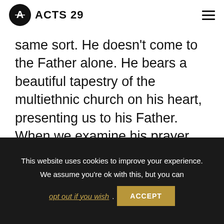ACTS 29
same sort. He doesn't come to the Father alone. He bears a beautiful tapestry of the multiethnic church on his heart, presenting us to his Father. When we examine his prayer, we learn one of the things that means the most to him—unity. When heretical teachings of
This website uses cookies to improve your experience. We assume you're ok with this, but you can opt out if you wish. ACCEPT